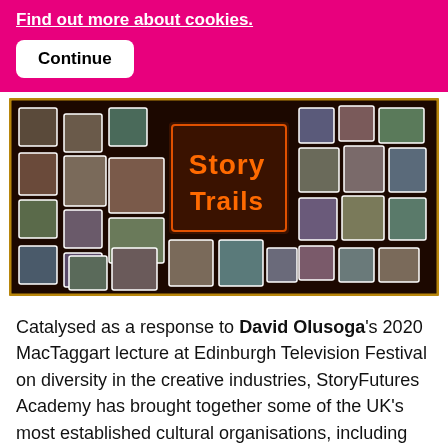Find out more about cookies.
Continue
[Figure (photo): StoryTrails promotional image featuring a collage of diverse people's portrait photos arranged around a central neon-lit 'Story Trails' logo on a dark background with orange border.]
Catalysed as a response to David Olusoga's 2020 MacTaggart lecture at Edinburgh Television Festival on diversity in the creative industries, StoryFutures Academy has brought together some of the UK's most established cultural organisations, including the BFI and the BBC alongside companies at the cutting